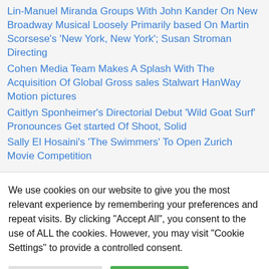Lin-Manuel Miranda Groups With John Kander On New Broadway Musical Loosely Primarily based On Martin Scorsese's 'New York, New York'; Susan Stroman Directing
Cohen Media Team Makes A Splash With The Acquisition Of Global Gross sales Stalwart HanWay Motion pictures
Caitlyn Sponheimer's Directorial Debut 'Wild Goat Surf' Pronounces Get started Of Shoot, Solid
Sally El Hosaini's 'The Swimmers' To Open Zurich Movie Competition
We use cookies on our website to give you the most relevant experience by remembering your preferences and repeat visits. By clicking "Accept All", you consent to the use of ALL the cookies. However, you may visit "Cookie Settings" to provide a controlled consent.